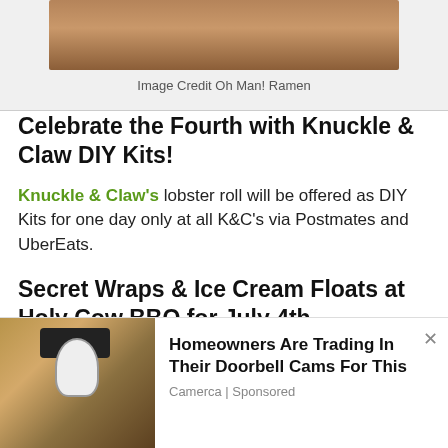[Figure (photo): Partial photo of ramen or food dish, cropped at top]
Image Credit Oh Man! Ramen
Celebrate the Fourth with Knuckle & Claw DIY Kits!
Knuckle & Claw's lobster roll will be offered as DIY Kits for one day only at all K&C's via Postmates and UberEats.
Secret Wraps & Ice Cream Floats at Holy Cow BBQ for July 4th
What was once on the secret menu at Holy Cow is now availble to all! Dig into
[Figure (photo): Advertisement photo showing outdoor light fixture with security camera bulb]
Homeowners Are Trading In Their Doorbell Cams For This
Camerca | Sponsored